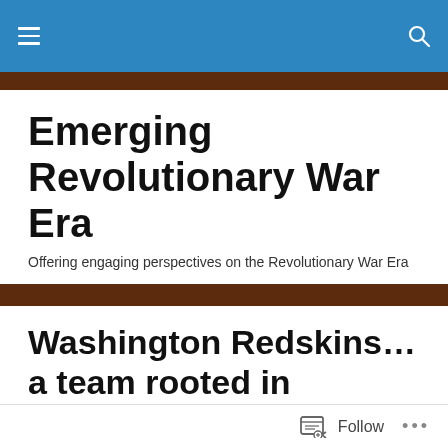Emerging Revolutionary War Era
Emerging Revolutionary War Era
Offering engaging perspectives on the Revolutionary War Era
Washington Redskins…a team rooted in Revolutionary War History?
Posted by Rob Orrison
[Figure (photo): Partially visible photo preview at bottom of article]
Follow